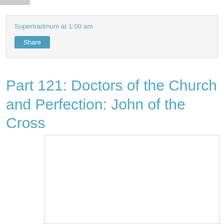Supertradmum at 1:00 am
Share
Part 121: Doctors of the Church and Perfection: John of the Cross
[Figure (photo): White rectangular image placeholder with light gray border]